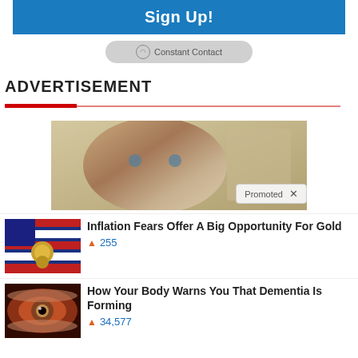[Figure (screenshot): Blue 'Sign Up!' button]
[Figure (logo): Constant Contact button/badge]
ADVERTISEMENT
[Figure (photo): Older man's face close-up with 'Promoted X' badge overlay]
[Figure (screenshot): Article thumbnail: coins on American flag]
Inflation Fears Offer A Big Opportunity For Gold
🔥 255
[Figure (photo): Article thumbnail: close-up of human eye]
How Your Body Warns You That Dementia Is Forming
🔥 34,577